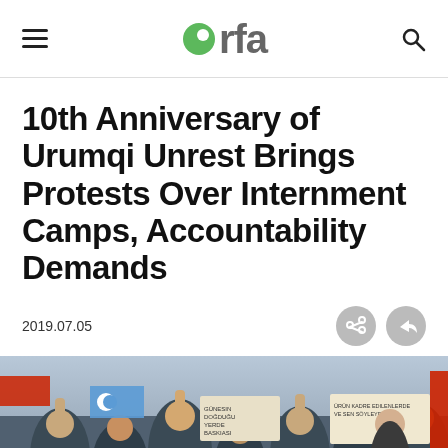RFA logo header with hamburger menu and search icon
10th Anniversary of Urumqi Unrest Brings Protests Over Internment Camps, Accountability Demands
2019.07.05
[Figure (photo): Crowd of protesters with flags and signs at a demonstration, some raising fists, holding banners with text in Turkish language]